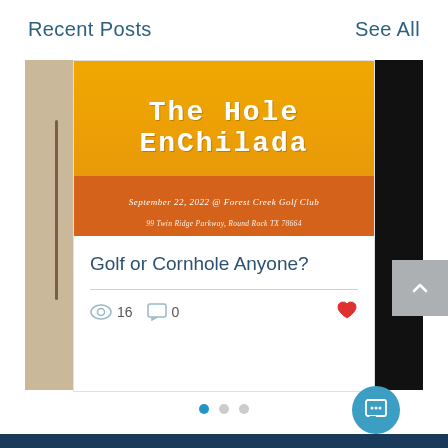Recent Posts
See All
[Figure (photo): Event flyer for 'The Hole Enchilada' — a cornhole and golf tournament on September 22, 2022 at Forest Creek Golf Club, 99 Twin Ridge Parkway, Round Rock TX 78664. Yellow/orange background with white bold text.]
Golf or Cornhole Anyone?
16 views, 0 comments, like button